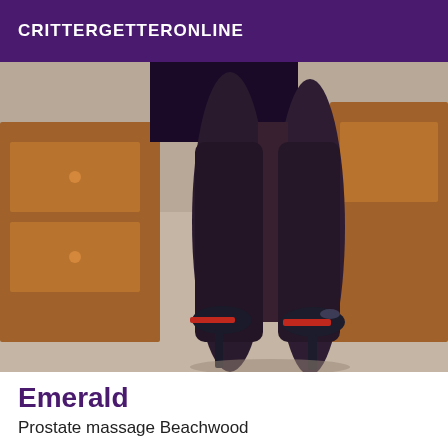CRITTERGETTERONLINE
[Figure (photo): Photo showing the back view of a person's legs wearing dark stockings and red-soled black high heel stiletto shoes, standing on a beige carpet with a wooden dresser in the background.]
Emerald
Prostate massage Beachwood